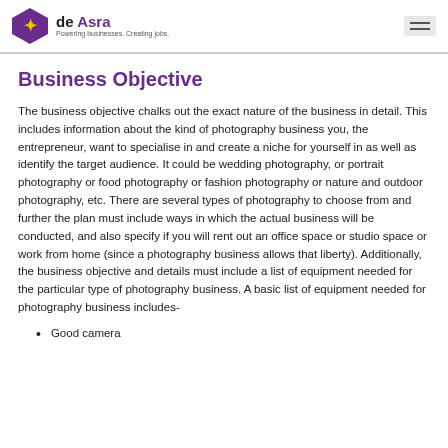de Asra — Powering businesses. Creating jobs.
Business Objective
The business objective chalks out the exact nature of the business in detail. This includes information about the kind of photography business you, the entrepreneur, want to specialise in and create a niche for yourself in as well as identify the target audience. It could be wedding photography, or portrait photography or food photography or fashion photography or nature and outdoor photography, etc. There are several types of photography to choose from and further the plan must include ways in which the actual business will be conducted, and also specify if you will rent out an office space or studio space or work from home (since a photography business allows that liberty). Additionally, the business objective and details must include a list of equipment needed for the particular type of photography business. A basic list of equipment needed for photography business includes-
Good camera